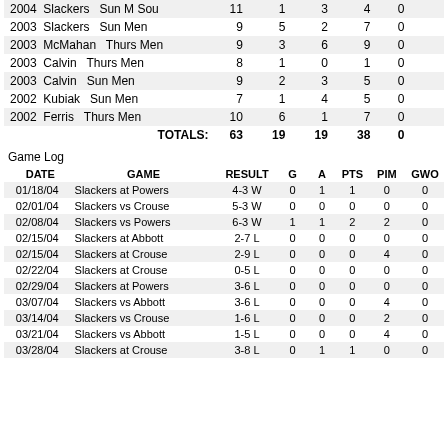| Year | Team | Day | Div |  | G | A | PTS | PIM | GWO |
| --- | --- | --- | --- | --- | --- | --- | --- | --- | --- |
| 2004 | Slackers | Sun M | Sou | 11 | 1 | 3 | 4 | 0 |  |
| 2003 | Slackers | Sun | Men | 9 | 5 | 2 | 7 | 0 |  |
| 2003 | McMahan | Thurs | Men | 9 | 3 | 6 | 9 | 0 |  |
| 2003 | Calvin | Thurs | Men | 8 | 1 | 0 | 1 | 0 |  |
| 2003 | Calvin | Sun | Men | 9 | 2 | 3 | 5 | 0 |  |
| 2002 | Kubiak | Sun | Men | 7 | 1 | 4 | 5 | 0 |  |
| 2002 | Ferris | Thurs | Men | 10 | 6 | 1 | 7 | 0 |  |
| TOTALS: |  |  |  | 63 | 19 | 19 | 38 | 0 |  |
Game Log
| DATE | GAME | RESULT | G | A | PTS | PIM | GWO |
| --- | --- | --- | --- | --- | --- | --- | --- |
| 01/18/04 | Slackers at Powers | 4-3 W | 0 | 1 | 1 | 0 | 0 |
| 02/01/04 | Slackers vs Crouse | 5-3 W | 0 | 0 | 0 | 0 | 0 |
| 02/08/04 | Slackers vs Powers | 6-3 W | 1 | 1 | 2 | 2 | 0 |
| 02/15/04 | Slackers at Abbott | 2-7 L | 0 | 0 | 0 | 0 | 0 |
| 02/15/04 | Slackers at Crouse | 2-9 L | 0 | 0 | 0 | 4 | 0 |
| 02/22/04 | Slackers at Crouse | 0-5 L | 0 | 0 | 0 | 0 | 0 |
| 02/29/04 | Slackers at Powers | 3-6 L | 0 | 0 | 0 | 0 | 0 |
| 03/07/04 | Slackers vs Abbott | 3-6 L | 0 | 0 | 0 | 4 | 0 |
| 03/14/04 | Slackers vs Crouse | 1-6 L | 0 | 0 | 0 | 2 | 0 |
| 03/21/04 | Slackers vs Abbott | 1-5 L | 0 | 0 | 0 | 4 | 0 |
| 03/28/04 | Slackers at Crouse | 3-8 L | 0 | 1 | 1 | 0 | 0 |